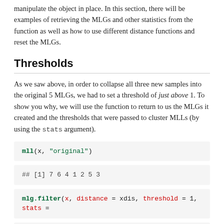manipulate the object in place. In this section, there will be examples of retrieving the MLGs and other statistics from the function as well as how to use different distance functions and reset the MLGs.
Thresholds
As we saw above, in order to collapse all three new samples into the original 5 MLGs, we had to set a threshold of just above 1. To show you why, we will use the function to return to us the MLGs it created and the thresholds that were passed to cluster MLLs (by using the stats argument).
mll(x, "original")
## [1] 7 6 4 1 2 5 3
mlg.filter(x, distance = xdis, threshold = 1, stats =
## $MLGS